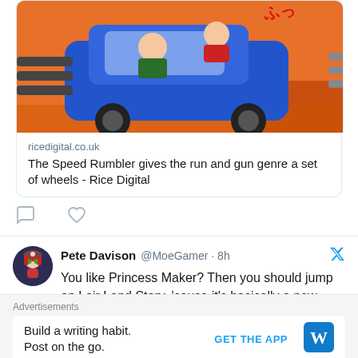[Figure (illustration): Game artwork showing animated characters in a blue car with weapons, orange/fire background - The Speed Rumbler game art]
ricedigital.co.uk
The Speed Rumbler gives the run and gun genre a set of wheels - Rice Digital
[Figure (infographic): Two heart/comment icon outlines representing tweet action buttons]
Pete Davison @MoeGamer · 8h
You like Princess Maker? Then you should jump on Lair Land Story, 'cause it's basically a new Princess Maker, all wrapped in an aesthetic strongly reminiscent of early '00s PS2 titles like
Advertisements
Build a writing habit.
Post on the go.
GET THE APP